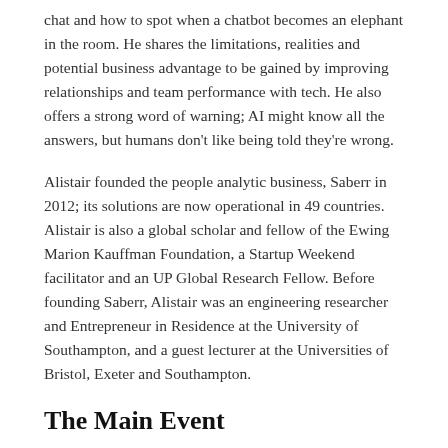chat and how to spot when a chatbot becomes an elephant in the room. He shares the limitations, realities and potential business advantage to be gained by improving relationships and team performance with tech. He also offers a strong word of warning; AI might know all the answers, but humans don't like being told they're wrong.
Alistair founded the people analytic business, Saberr in 2012; its solutions are now operational in 49 countries. Alistair is also a global scholar and fellow of the Ewing Marion Kauffman Foundation, a Startup Weekend facilitator and an UP Global Research Fellow. Before founding Saberr, Alistair was an engineering researcher and Entrepreneur in Residence at the University of Southampton, and a guest lecturer at the Universities of Bristol, Exeter and Southampton.
The Main Event